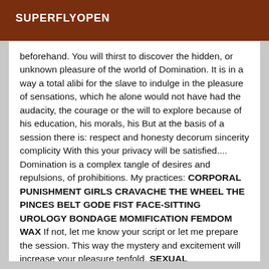SUPERFLYOPEN
beforehand. You will thirst to discover the hidden, or unknown pleasure of the world of Domination. It is in a way a total alibi for the slave to indulge in the pleasure of sensations, which he alone would not have had the audacity, the courage or the will to explore because of his education, his morals, his But at the basis of a session there is: respect and honesty decorum sincerity complicity With this your privacy will be satisfied.... Domination is a complex tangle of desires and repulsions, of prohibitions. My practices: CORPORAL PUNISHMENT GIRLS CRAVACHE THE WHEEL THE PINCES BELT GODE FIST FACE-SITTING UROLOGY BONDAGE MOMIFICATION FEMDOM WAX If not, let me know your script or let me prepare the session. This way the mystery and excitement will increase your pleasure tenfold. SEXUAL INTERCOURSE IS EXCLUDED.